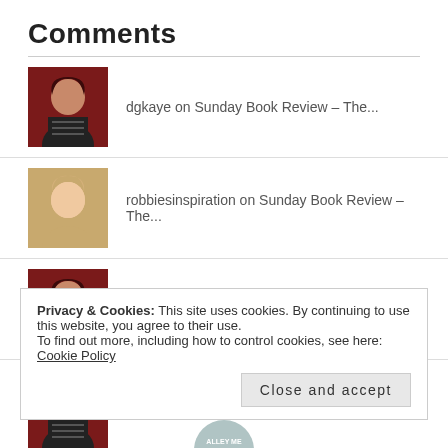Comments
dgkaye on Sunday Book Review – The...
robbiesinspiration on Sunday Book Review – The...
dgkaye on Signs – Suddenly, #Drago...
dgkaye on Sunday Book Review – The...
Privacy & Cookies: This site uses cookies. By continuing to use this website, you agree to their use.
To find out more, including how to control cookies, see here: Cookie Policy
Close and accept